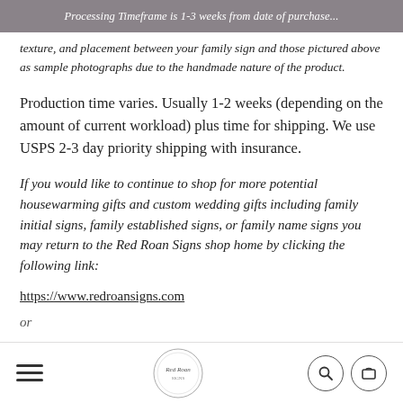Processing Timeframe is 1-3 weeks from date of purchase...
texture, and placement between your family sign and those pictured above as sample photographs due to the handmade nature of the product.
Production time varies. Usually 1-2 weeks (depending on the amount of current workload) plus time for shipping. We use USPS 2-3 day priority shipping with insurance.
If you would like to continue to shop for more potential housewarming gifts and custom wedding gifts including family initial signs, family established signs, or family name signs you may return to the Red Roan Signs shop home by clicking the following link:
https://www.redroansigns.com
or
https://www.etsy.com/shop/RoanSi...